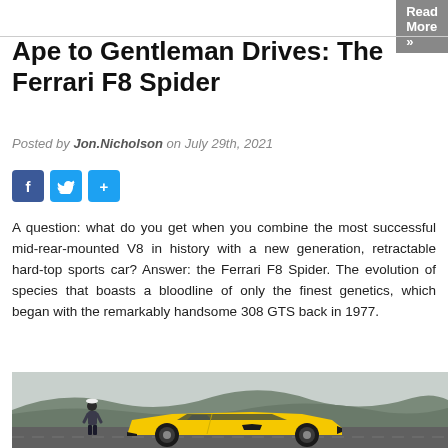Read More »
Ape to Gentleman Drives: The Ferrari F8 Spider
Posted by Jon.Nicholson on July 29th, 2021
[Figure (other): Social media share buttons: Facebook, Twitter, and a plus/share button]
A question: what do you get when you combine the most successful mid-rear-mounted V8 in history with a new generation, retractable hard-top sports car? Answer: the Ferrari F8 Spider. The evolution of species that boasts a bloodline of only the finest genetics, which began with the remarkably handsome 308 GTS back in 1977.
[Figure (photo): Outdoor photo of a yellow Ferrari F8 Spider on a road with a man standing beside it against a moorland landscape with hills in the background under an overcast sky.]